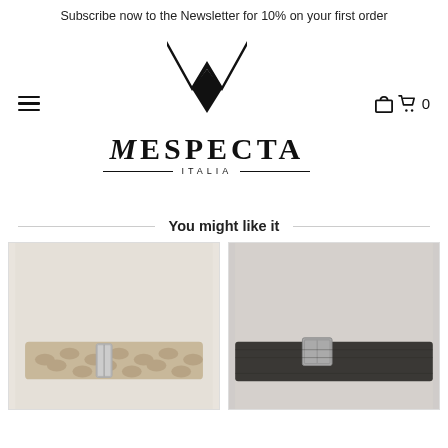Subscribe now to the Newsletter for 10% on your first order
[Figure (logo): Mespecta Italia logo — stylized M with downward pointing diamond/shield, brand name MESPECTA in serif uppercase with ITALIA subtitle and decorative lines]
You might like it
[Figure (photo): Product photo of a snakeskin patterned leather belt with silver buckle on light background]
[Figure (photo): Product photo of a dark grey/charcoal suede leather belt with silver rectangular buckle on light grey background]